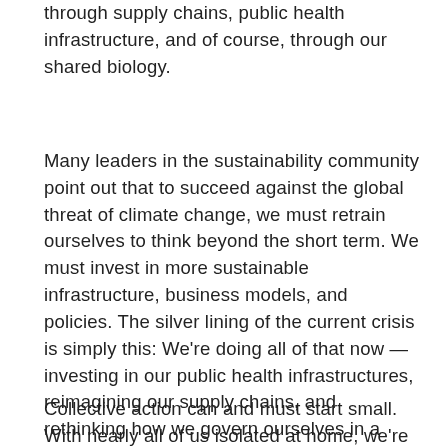through supply chains, public health infrastructure, and of course, through our shared biology.
Many leaders in the sustainability community point out that to succeed against the global threat of climate change, we must retrain ourselves to think beyond the short term. We must invest in more sustainable infrastructure, business models, and policies. The silver lining of the current crisis is simply this: We're doing all of that now — investing in our public health infrastructures, reimagining our supply chains, and rethinking how we govern ourselves in a post-pandemic world. If we can do it with the coronavirus now, certainly we can heal the planet next.
Collective action can and must start small. With nearly all of us isolated at home, we're all using far